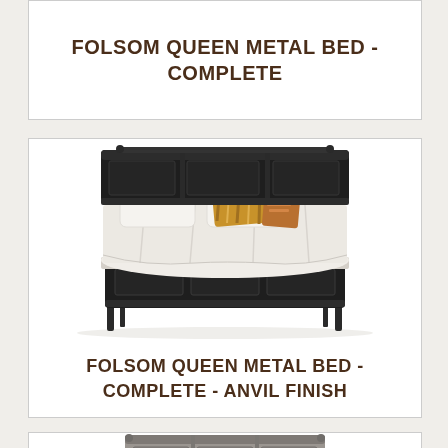FOLSOM QUEEN METAL BED - COMPLETE
[Figure (photo): Folsom Queen Metal Bed in Anvil finish, a dark metal bed frame with panel headboard and footboard, dressed with white and cream bedding and decorative pillows]
FOLSOM QUEEN METAL BED - COMPLETE - ANVIL FINISH
[Figure (photo): Partial view of another Folsom Queen Metal Bed variant, showing the headboard in a lighter gray/weathered finish]